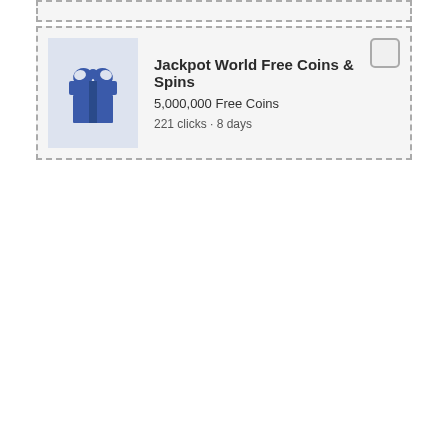[Figure (screenshot): Top dashed-border box, partially visible, gray background]
[Figure (screenshot): Card with dashed border containing a gift box icon (blue/lavender), title 'Jackpot World Free Coins & Spins', subtitle '5,000,000 Free Coins', meta '221 clicks · 8 days', and a checkbox in top-right corner]